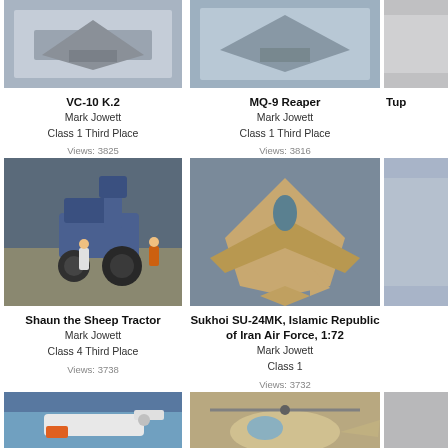[Figure (photo): Model of VC-10 K.2 aircraft on display base, top-down view]
VC-10 K.2
Mark Jowett
Class 1 Third Place
Views: 3825
[Figure (photo): Model of MQ-9 Reaper drone on display base, top-down view]
MQ-9 Reaper
Mark Jowett
Class 1 Third Place
Views: 3816
[Figure (photo): Partially visible aircraft model on right edge]
Tup
[Figure (photo): Model of Shaun the Sheep Tractor with figures diorama]
Shaun the Sheep Tractor
Mark Jowett
Class 4 Third Place
Views: 3738
[Figure (photo): Model of Sukhoi SU-24MK in Islamic Republic of Iran Air Force markings, sandy camouflage]
Sukhoi SU-24MK, Islamic Republic of Iran Air Force, 1:72
Mark Jowett
Class 1
Views: 3732
[Figure (photo): Partially visible aircraft model on right edge, second row]
[Figure (photo): Model of small white aircraft with orange detail, partial view]
[Figure (photo): Model of military helicopter in desert/tan colors]
[Figure (photo): Partially visible model on right edge, third row]